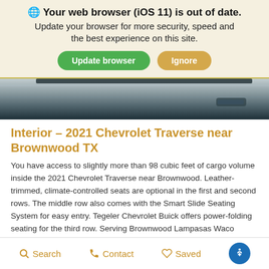🌐 Your web browser (iOS 11) is out of date. Update your browser for more security, speed and the best experience on this site. [Update browser] [Ignore]
[Figure (photo): Close-up photo of a car roof/door frame, dark metallic tones, partially cropped]
Interior – 2021 Chevrolet Traverse near Brownwood TX
You have access to slightly more than 98 cubic feet of cargo volume inside the 2021 Chevrolet Traverse near Brownwood. Leather-trimmed, climate-controlled seats are optional in the first and second rows. The middle row also comes with the Smart Slide Seating System for easy entry. Tegeler Chevrolet Buick offers power-folding seating for the third row. Serving Brownwood Lampasas Waco Goldthwaite, our dealership is excited to reveal some other class-exclusive amenities inside this midsize Chevy SUV. For
Search   Contact   Saved   [Accessibility]